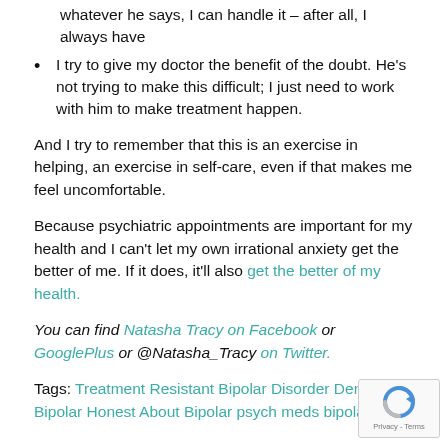whatever he says, I can handle it – after all, I always have
I try to give my doctor the benefit of the doubt. He's not trying to make this difficult; I just need to work with him to make treatment happen.
And I try to remember that this is an exercise in helping, an exercise in self-care, even if that makes me feel uncomfortable.
Because psychiatric appointments are important for my health and I can't let my own irrational anxiety get the better of me. If it does, it'll also get the better of my health.
You can find Natasha Tracy on Facebook or GooglePlus or @Natasha_Tracy on Twitter.
Tags: Treatment Resistant Bipolar Disorder Denying Bipolar Honest About Bipolar psych meds bipolar